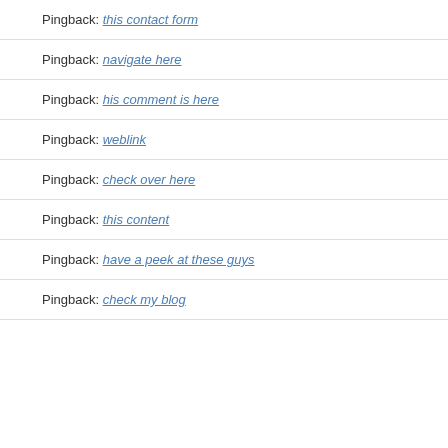Pingback: this contact form
Pingback: navigate here
Pingback: his comment is here
Pingback: weblink
Pingback: check over here
Pingback: this content
Pingback: have a peek at these guys
Pingback: check my blog